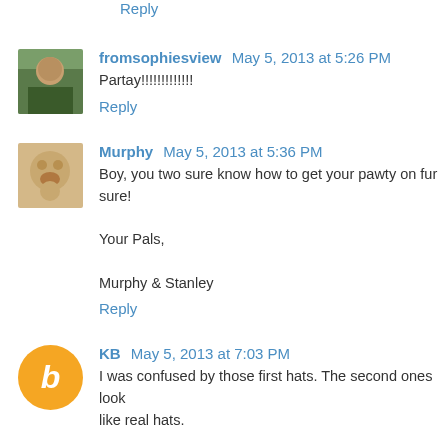Reply
fromsophiesview May 5, 2013 at 5:26 PM
Partay!!!!!!!!!!!!!
Reply
Murphy May 5, 2013 at 5:36 PM
Boy, you two sure know how to get your pawty on fur sure!

Your Pals,

Murphy & Stanley
Reply
KB May 5, 2013 at 7:03 PM
I was confused by those first hats. The second ones look like real hats.